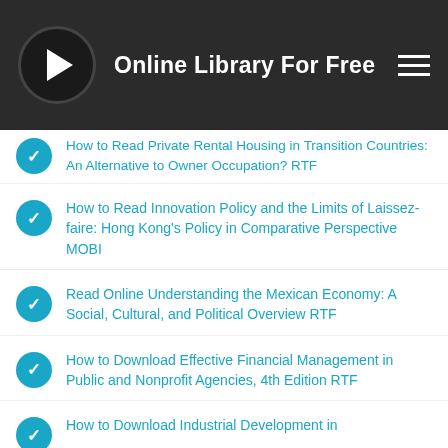Online Library For Free
How to Read Private Rental Housing in Transition Countries: An Alternative to Owner Occupation? RTF
How to Read Innovation Policy and the Limits of Laissez-faire: Hong Kong's Policy in Comparative Perspective MOBI
Read Online Understanding the Mexican Economy: A Social, Cultural, and Political Overview RTF
How to Download Effective Financial Management in Public and Nonprofit Agencies, 4th Edition RTF
How to Download Industrial Development in...